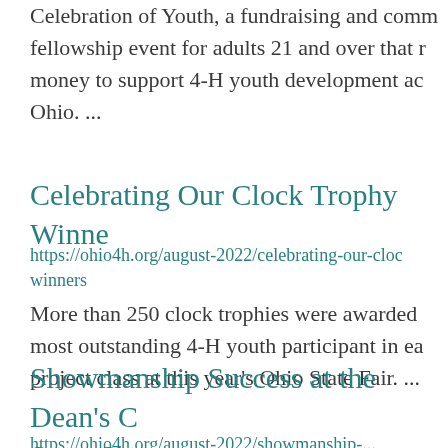Celebration of Youth, a fundraising and community fellowship event for adults 21 and over that raises money to support 4-H youth development activities in Ohio. ...
Celebrating Our Clock Trophy Winners
https://ohio4h.org/august-2022/celebrating-our-clock-trophy-winners
More than 250 clock trophies were awarded to the most outstanding 4-H youth participant in each project class at this year's Ohio State Fair. ...
Showmanship Success at the Dean's Choice Steer Show
https://ohio4h.org/august-2022/showmanship-...